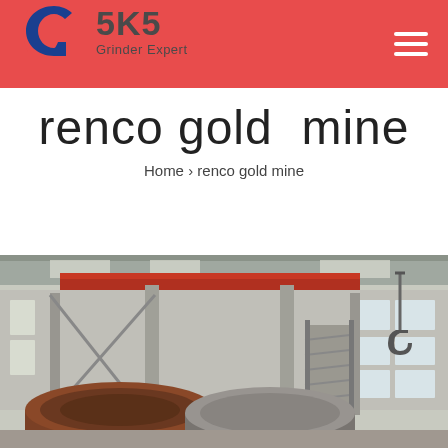SKS Grinder Expert
renco gold mine
Home › renco gold mine
[Figure (photo): Industrial factory interior showing large cylindrical grinding mill drums in the foreground, with structural steel columns, overhead crane hook, red overhead beam, staircase, and warehouse windows in the background.]